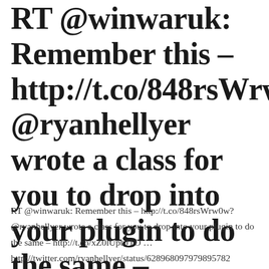RT @winwaruk: Remember this – http://t.co/848rsWrw0w? @ryanhellyer wrote a class for you to drop into your plugin to do the same – http://t.co/xZ0lUpbJTO
RT @winwaruk: Remember this – http://t.co/848rsWrw0w? @ryanhellyer wrote a class for you to drop into your plugin to do the same – http://t.co/xZ0lUpbJTO … http://twitter.com/ryanhellyer/status/628968097979895782